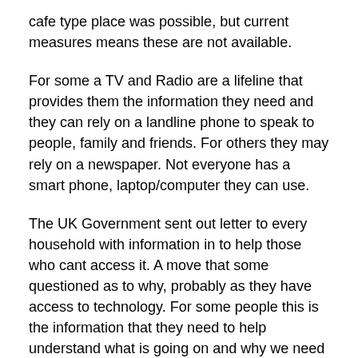cafe type place was possible, but current measures means these are not available.
For some a TV and Radio are a lifeline that provides them the information they need and they can rely on a landline phone to speak to people, family and friends. For others they may rely on a newspaper. Not everyone has a smart phone, laptop/computer they can use.
The UK Government sent out letter to every household with information in to help those who cant access it. A move that some questioned as to why, probably as they have access to technology. For some people this is the information that they need to help understand what is going on and why we need to take these drastic measures to keep everyone safe.